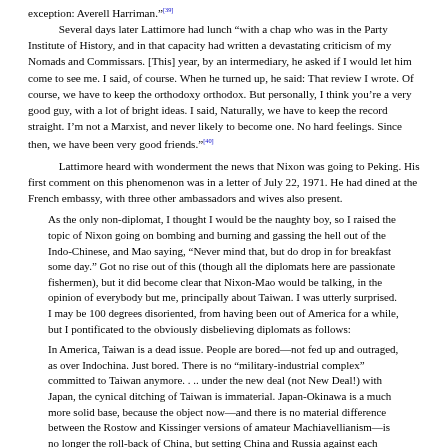exception: Averell Harriman."[39]
Several days later Lattimore had lunch "with a chap who was in the Party Institute of History, and in that capacity had written a devastating criticism of my Nomads and Commissars. [This] year, by an intermediary, he asked if I would let him come to see me. I said, of course. When he turned up, he said: That review I wrote. Of course, we have to keep the orthodoxy orthodox. But personally, I think you're a very good guy, with a lot of bright ideas. I said, Naturally, we have to keep the record straight. I'm not a Marxist, and never likely to become one. No hard feelings. Since then, we have been very good friends."[40]
Lattimore heard with wonderment the news that Nixon was going to Peking. His first comment on this phenomenon was in a letter of July 22, 1971. He had dined at the French embassy, with three other ambassadors and wives also present.
As the only non-diplomat, I thought I would be the naughty boy, so I raised the topic of Nixon going on bombing and burning and gassing the hell out of the Indo-Chinese, and Mao saying, "Never mind that, but do drop in for breakfast some day." Got no rise out of this (though all the diplomats here are passionate fishermen), but it did become clear that Nixon-Mao would be talking, in the opinion of everybody but me, principally about Taiwan. I was utterly surprised. I may be 100 degrees disoriented, from having been out of America for a while, but I pontificated to the obviously disbelieving diplomats as follows:
In America, Taiwan is a dead issue. People are bored—not fed up and outraged, as over Indochina. Just bored. There is no "military-industrial complex" committed to Taiwan anymore. . .. under the new deal (not New Deal!) with Japan, the cynical ditching of Taiwan is immaterial. Japan-Okinawa is a much more solid base, because the object now—and there is no material difference between the Rostow and Kissinger versions of amateur Machiavellianism—is no longer the roll-back of China, but setting China and Russia against each other, and for that Japan is better (so these poor dopes think). . .. No, in my opinion the emotional issue in America will no longer be Taiwan, but Indochina.[41]